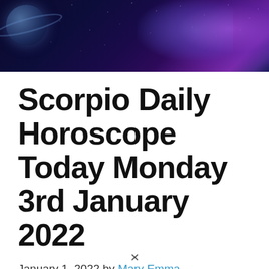[Figure (photo): Space/astronomy banner image showing a planet with rings on the left side and a purple/blue nebula on the right side against a dark starry background]
Scorpio Daily Horoscope Today Monday 3rd January 2022
January 1, 2022 by Mary Emma